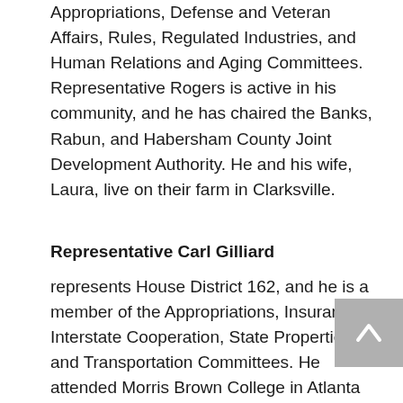Appropriations, Defense and Veteran Affairs, Rules, Regulated Industries, and Human Relations and Aging Committees. Representative Rogers is active in his community, and he has chaired the Banks, Rabun, and Habersham County Joint Development Authority. He and his wife, Laura, live on their farm in Clarksville.
Representative Carl Gilliard
represents House District 162, and he is a member of the Appropriations, Insurance, Interstate Cooperation, State Properties, and Transportation Committees. He attended Morris Brown College in Atlanta where his community career